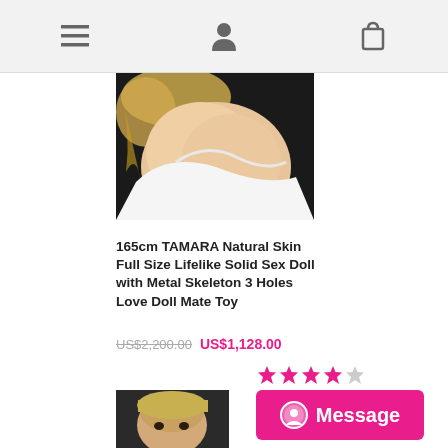Navigation header with menu, account, and cart icons
[Figure (photo): Product photo of a lifelike doll torso wearing white fabric against dark background]
165cm TAMARA Natural Skin Full Size Lifelike Solid Sex Doll with Metal Skeleton 3 Holes Love Doll Mate Toy
US$2,200.00  US$1,128.00
[Figure (other): Star rating: 4 out of 5 stars (pink/filled and grey/empty stars)]
[Figure (photo): Second product photo showing doll head with blonde short hair]
Message